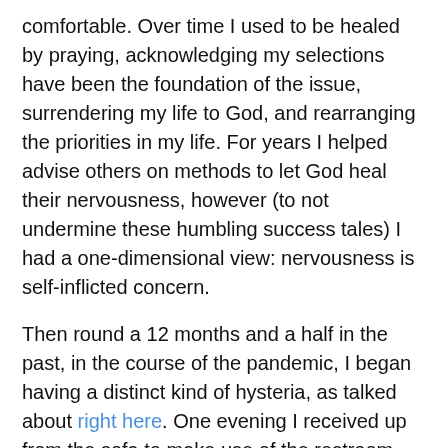comfortable. Over time I used to be healed by praying, acknowledging my selections have been the foundation of the issue, surrendering my life to God, and rearranging the priorities in my life. For years I helped advise others on methods to let God heal their nervousness, however (to not undermine these humbling success tales) I had a one-dimensional view: nervousness is self-inflicted concern.
Then round a 12 months and a half in the past, in the course of the pandemic, I began having a distinct kind of hysteria, as talked about right here. One evening I received up from the sofa to make use of the restroom and whereas standing over the bathroom, I handed out. I got here to with my spouse yanking my arms attempting to dislodge me from between the bathroom and the wall. As my torso flopped to the ground, I may hear my youngsters calling 911 so I mumbled, “No ambulance, no ambulance.” I persuaded my spouse to